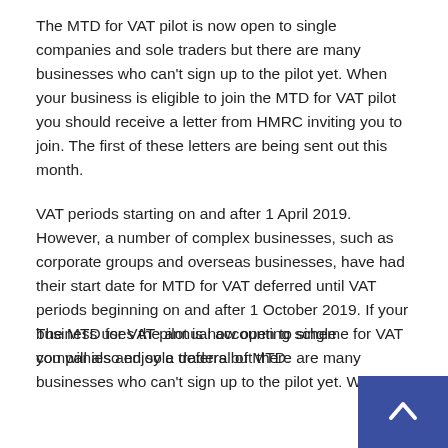The MTD for VAT pilot is now open to single companies and sole traders but there are many businesses who can't sign up to the pilot yet. When your business is eligible to join the MTD for VAT pilot you should receive a letter from HMRC inviting you to join. The first of these letters are being sent out this month.
VAT periods starting on and after 1 April 2019. However, a number of complex businesses, such as corporate groups and overseas businesses, have had their start date for MTD for VAT deferred until VAT periods beginning on and after 1 October 2019. If your business uses the annual accounting scheme for VAT you will also enjoy a deferral of MTD.
The MTD for VAT pilot is now open to single companies and sole traders but there are many businesses who can't sign up to the pilot yet. When